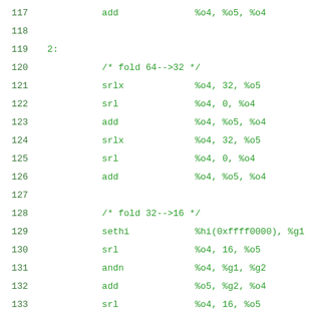117   add              %o4, %o5, %o4
118
119 2:
120               /* fold 64-->32 */
121               srlx             %o4, 32, %o5
122               srl              %o4, 0, %o4
123               add              %o4, %o5, %o4
124               srlx             %o4, 32, %o5
125               srl              %o4, 0, %o4
126               add              %o4, %o5, %o4
127
128               /* fold 32-->16 */
129               sethi            %hi(0xffff0000), %g1
130               srl              %o4, 16, %o5
131               andn             %o4, %g1, %g2
132               add              %o5, %g2, %o4
133               srl              %o4, 16, %o5
134               andn             %o4, %g1, %g2
135               add              %o5, %g2, %o4
136
137 csum_partial_end_cruft: